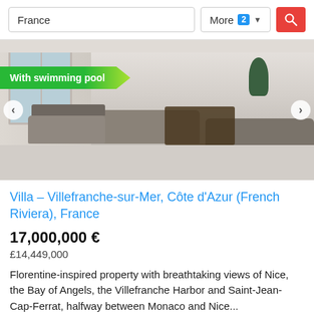France | More 2 ▾ [search button]
[Figure (photo): Interior photo of a luxury villa showing a spacious living room with grey sofas, a glass coffee table, large windows, and a plant in the background. A green banner reads 'With swimming pool'.]
Villa – Villefranche-sur-Mer, Côte d'Azur (French Riviera), France
17,000,000 €
£14,449,000
Florentine-inspired property with breathtaking views of Nice, the Bay of Angels, the Villefranche Harbor and Saint-Jean-Cap-Ferrat, halfway between Monaco and Nice...